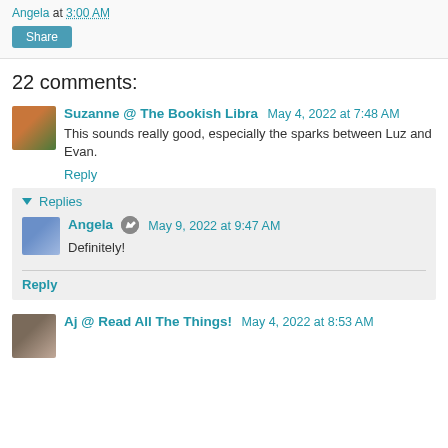Angela at 3:00 AM
Share
22 comments:
Suzanne @ The Bookish Libra  May 4, 2022 at 7:48 AM
This sounds really good, especially the sparks between Luz and Evan.
Reply
Replies
Angela  May 9, 2022 at 9:47 AM
Definitely!
Reply
Aj @ Read All The Things!  May 4, 2022 at 8:53 AM